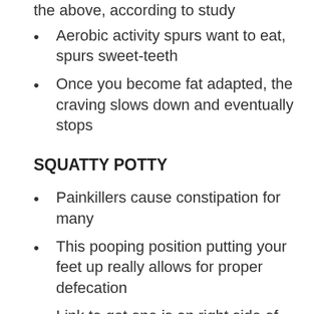Aerobic activity spurs want to eat, spurs sweet-teeth
Once you become fat adapted, the craving slows down and eventually stops
SQUATTY POTTY
Painkillers cause constipation for many
This pooping position putting your feet up really allows for proper defecation
Link to get one is on right side of every page